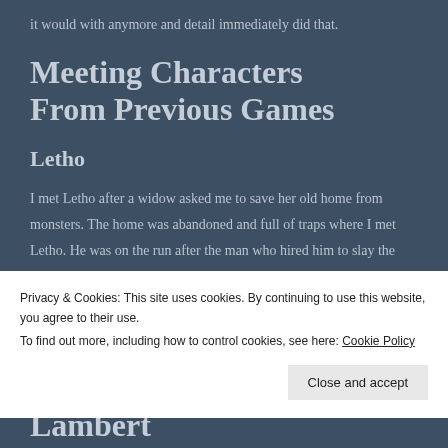it would with anymore and detail immediately did that.
Meeting Characters From Previous Games
Letho
I met Letho after a widow asked me to save her old home from monsters. The home was abandoned and full of traps where I met Letho. He was on the run after the man who hired him to slay the king in the last game
Privacy & Cookies: This site uses cookies. By continuing to use this website, you agree to their use.
To find out more, including how to control cookies, see here: Cookie Policy
Lambert